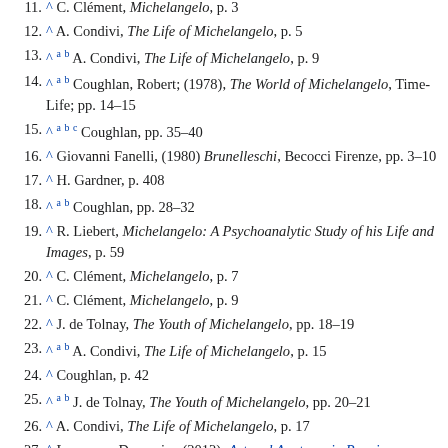11. ^ C. Clément, Michelangelo, p. 3
12. ^ A. Condivi, The Life of Michelangelo, p. 5
13. ^ a b A. Condivi, The Life of Michelangelo, p. 9
14. ^ a b Coughlan, Robert; (1978), The World of Michelangelo, Time-Life; pp. 14–15
15. ^ a b c Coughlan, pp. 35–40
16. ^ Giovanni Fanelli, (1980) Brunelleschi, Becocci Firenze, pp. 3–10
17. ^ H. Gardner, p. 408
18. ^ a b Coughlan, pp. 28–32
19. ^ R. Liebert, Michelangelo: A Psychoanalytic Study of his Life and Images, p. 59
20. ^ C. Clément, Michelangelo, p. 7
21. ^ C. Clément, Michelangelo, p. 9
22. ^ J. de Tolnay, The Youth of Michelangelo, pp. 18–19
23. ^ a b A. Condivi, The Life of Michelangelo, p. 15
24. ^ Coughlan, p. 42
25. ^ a b J. de Tolnay, The Youth of Michelangelo, pp. 20–21
26. ^ A. Condivi, The Life of Michelangelo, p. 17
27. ^ Laurenzo, Domenico (2012). Art and Anatomy in Renaissance Italy: Images from a Scientific Revolution. Metropolitan Museum of Art. p. 15.ISBN 1588394565.
28. ^ Zeybek, A.; Özkan, M. (August 2019). "Michelangelo and Anatomy". Anatomy: International Journal of